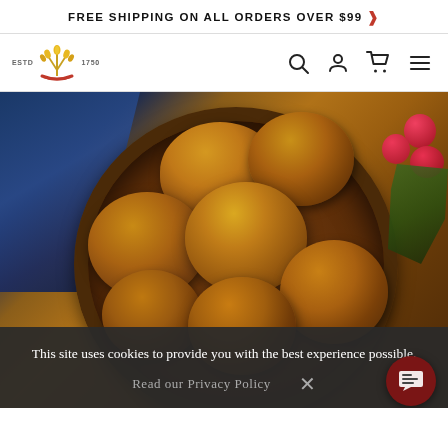FREE SHIPPING ON ALL ORDERS OVER $99 >
[Figure (logo): Brand logo with wheat/crown icon, ESTD and 1750 text flanking it, with navigation icons (search, user, cart, menu)]
[Figure (photo): Golden bread rolls in a wooden bowl with blue cloth and red berries in background]
This site uses cookies to provide you with the best experience possible.
Read our Privacy Policy